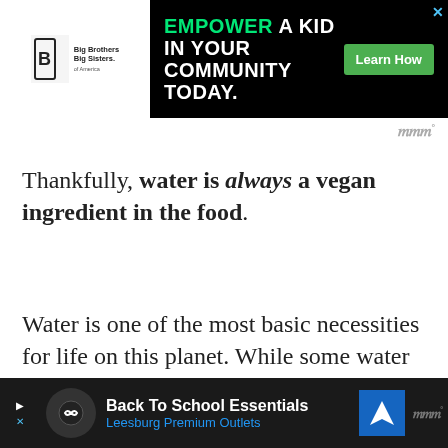[Figure (screenshot): Top advertisement banner: Big Brothers Big Sisters logo on left with 'EMPOWER A KID IN YOUR COMMUNITY TODAY.' in green and white text on black background, with a green 'Learn How' button and an X close button.]
Thankfully, water is always a vegan ingredient in the food.
Water is one of the most basic necessities for life on this planet. While some water is certainly healthier and more ethical than others, all water is vegan at the end of the day.
[Figure (screenshot): Bottom advertisement banner on dark background: 'Back To School Essentials' in white bold text, 'Leesburg Premium Outlets' in blue text, with a navigation/map icon.]